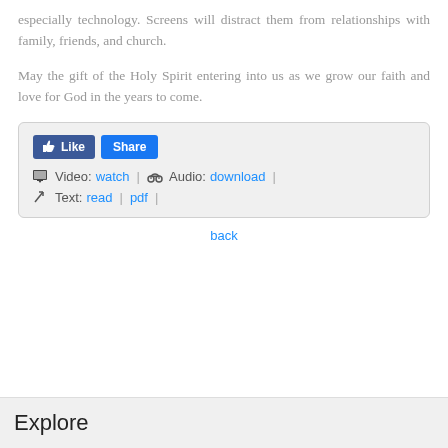especially technology. Screens will distract them from relationships with family, friends, and church.
May the gift of the Holy Spirit entering into us as we grow our faith and love for God in the years to come.
[Figure (screenshot): Social media widget with Like and Share buttons, Video: watch, Audio: download, Text: read | pdf links]
back
Explore